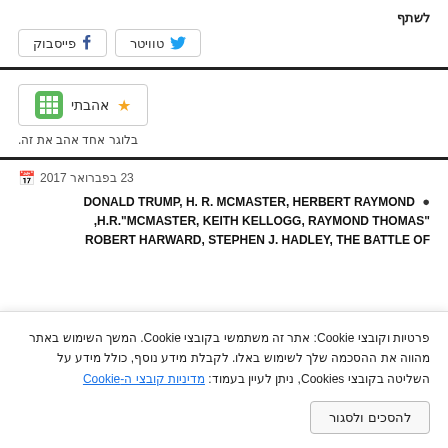לשתף
טוויטר | פייסבוק
אהבתי
בלוגר אחד אהב את זה.
23 בפברואר 2017
DONALD TRUMP, H. R. MCMASTER, HERBERT RAYMOND "H.R."MCMASTER, KEITH KELLOGG, RAYMOND THOMAS, ROBERT HARWARD, STEPHEN J. HADLEY, THE BATTLE OF
פרטיות וקובצי Cookie: אתר זה משתמשי בקובצי Cookie. המשך השימוש באתר מהווה את ההסכמה שלך לשימוש באלו. לקבלת מידע נוסף, כולל מידע על השליטה בקובצי Cookies, ניתן לעיין בעמוד: מדיניות קובצי ה-Cookie
להסכים ולסגור